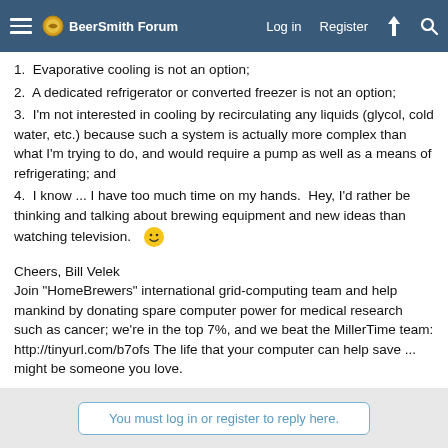BeerSmith Forum  Log in  Register
1.  Evaporative cooling is not an option;
2.  A dedicated refrigerator or converted freezer is not an option;
3.  I'm not interested in cooling by recirculating any liquids (glycol, cold water, etc.) because such a system is actually more complex than what I'm trying to do, and would require a pump as well as a means of refrigerating; and
4.  I know ... I have too much time on my hands.  Hey, I'd rather be thinking and talking about brewing equipment and new ideas than watching television. 🙂
Cheers, Bill Velek
Join "HomeBrewers" international grid-computing team and help mankind by donating spare computer power for medical research such as cancer; we're in the top 7%, and we beat the MillerTime team: http://tinyurl.com/b7ofs The life that your computer can help save ... might be someone you love.
You must log in or register to reply here.